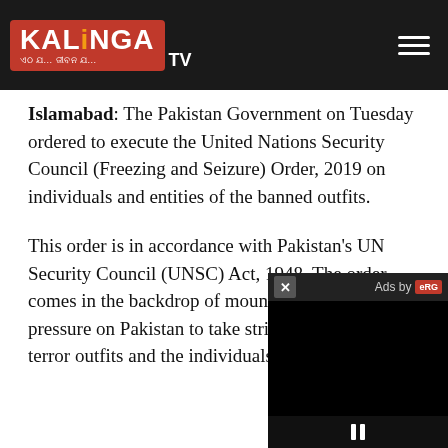Kalinga TV
Islamabad: The Pakistan Government on Tuesday ordered to execute the United Nations Security Council (Freezing and Seizure) Order, 2019 on individuals and entities of the banned outfits.
This order is in accordance with Pakistan's UN Security Council (UNSC) Act, 1948. The order comes in the backdrop of mounting international pressure on Pakistan to take strict action against terror outfits and the individuals belonging to it.
[Figure (screenshot): Ad overlay video player with close button (x), 'Ads by eRG' label, black video area, and pause controls at bottom]